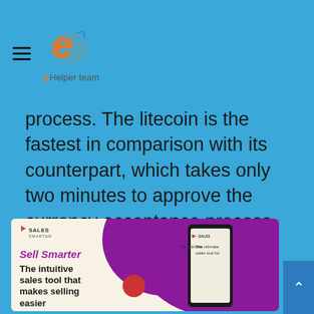eHelper team
process. The litecoin is the fastest in comparison with its counterpart, which takes only two minutes to approve the currency acceptance process, unlike the longer-lasting betcoin, which is about five minutes for the one admission process.
[Figure (illustration): Advertisement banner for a sales tool app. Shows 'Sell Smarter' in purple italic text, 'The intuitive sales tool that makes selling easier' in bold, a smartphone mockup showing 'The ultimate sales tool for', and a purple blob background shape with a red circle accent.]